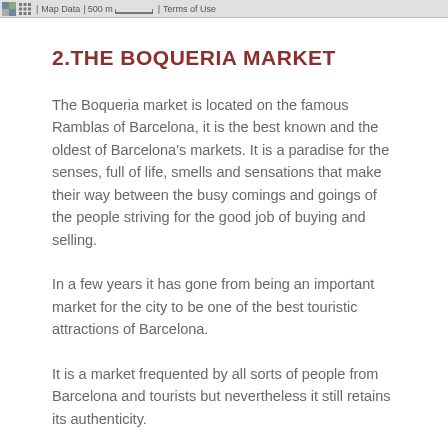[Figure (screenshot): Map toolbar strip showing map icon, grid icon, 'Map Data', '500 m' scale bar, and 'Terms of Use' text on a grey background]
2.THE BOQUERIA MARKET
The Boqueria market is located on the famous Ramblas of Barcelona, it is the best known and the oldest of Barcelona's markets. It is a paradise for the senses, full of life, smells and sensations that make their way between the busy comings and goings of the people striving for the good job of buying and selling.
In a few years it has gone from being an important market for the city to be one of the best touristic attractions of Barcelona.
It is a market frequented by all sorts of people from Barcelona and tourists but nevertheless it still retains its authenticity.